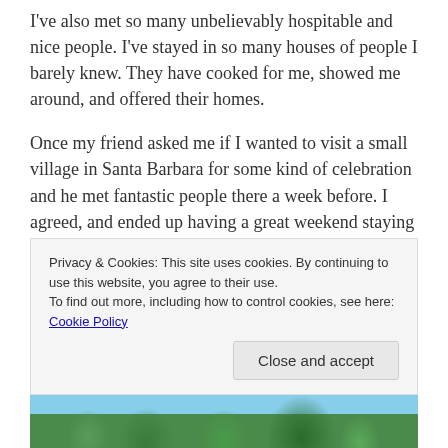I've also met so many unbelievably hospitable and nice people. I've stayed in so many houses of people I barely knew. They have cooked for me, showed me around, and offered their homes.
Once my friend asked me if I wanted to visit a small village in Santa Barbara for some kind of celebration and he met fantastic people there a week before. I agreed, and ended up having a great weekend staying in someone's house. The mother was so nice – she would wait for us until we got back from the festivities and cook for us, and when we woke up, she was in the
Privacy & Cookies: This site uses cookies. By continuing to use this website, you agree to their use.
To find out more, including how to control cookies, see here: Cookie Policy
Close and accept
[Figure (photo): A strip of palm tree foliage and tropical greenery at the bottom of the page]